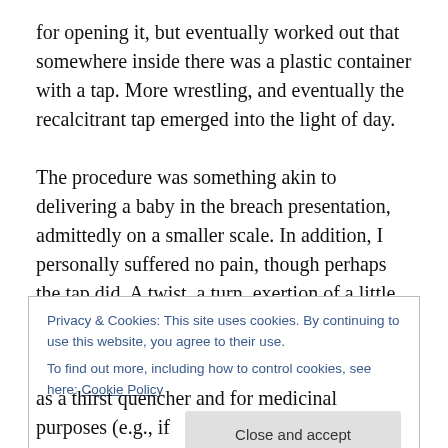for opening it, but eventually worked out that somewhere inside there was a plastic container with a tap. More wrestling, and eventually the recalcitrant tap emerged into the light of day.

The procedure was something akin to delivering a baby in the breach presentation, admittedly on a smaller scale. In addition, I personally suffered no pain, though perhaps the tap did. A twist, a turn, exertion of a little bit of pressure, and hey presto, out came a stream of pinkish-reddish liquid into the waiting glass (I had wisely decided to
Privacy & Cookies: This site uses cookies. By continuing to use this website, you agree to their use.
To find out more, including how to control cookies, see here: Cookie Policy
Close and accept
as a thirst quencher and for medicinal purposes (e.g., if